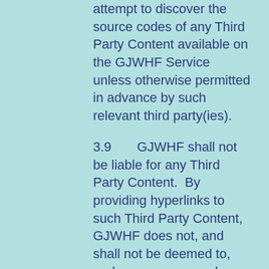attempt to discover the source codes of any Third Party Content available on the GJWHF Service unless otherwise permitted in advance by such relevant third party(ies).
3.9       GJWHF shall not be liable for any Third Party Content.  By providing hyperlinks to such Third Party Content, GJWHF does not, and shall not be deemed to, endorse, recommend, approve, guarantee or introduce any Third Party nor its Third Party Content nor have any cooperation with such Third Party. Your use of any Third Party Content is at your own